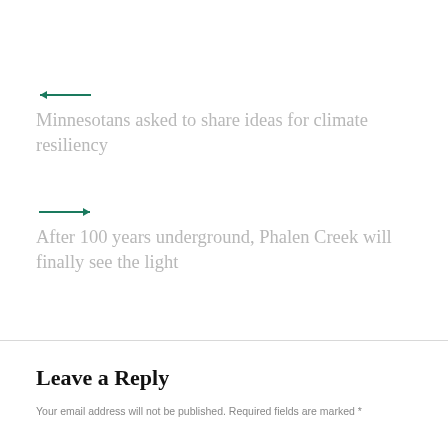[Figure (other): Left-pointing green arrow navigation indicator]
Minnesotans asked to share ideas for climate resiliency
[Figure (other): Right-pointing green arrow navigation indicator]
After 100 years underground, Phalen Creek will finally see the light
Leave a Reply
Your email address will not be published. Required fields are marked *